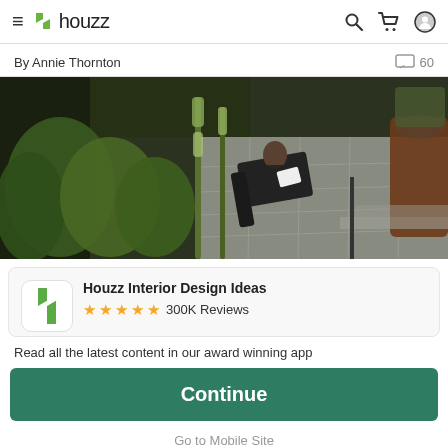houzz
By Annie Thornton   60
[Figure (photo): Aerial view of a modern patio garden with a person sitting in a dark lounge chair surrounded by lush green plants, flowering tall spikes, and gray stone tile paving with a dark fence in the background.]
Houzz Interior Design Ideas ★★★★★ 300K Reviews
Read all the latest content in our award winning app
Continue
Go to Mobile Site